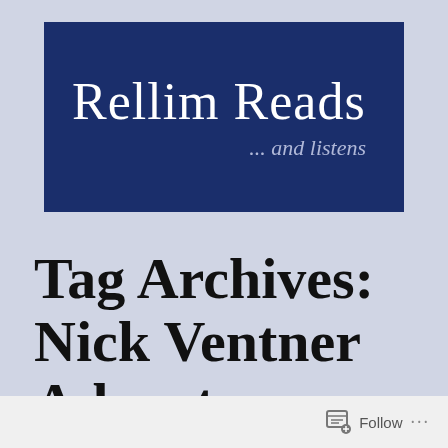[Figure (logo): Rellim Reads ... and listens blog logo — dark navy blue rectangle with white serif text 'Rellim Reads' and italic subtitle '... and listens']
Tag Archives: Nick Ventner Adventure
Follow ...